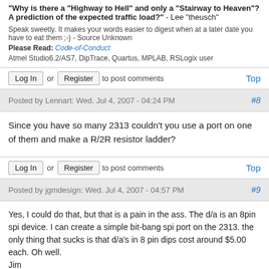"Why is there a "Highway to Hell" and only a "Stairway to Heaven"? A prediction of the expected traffic load?" - Lee "theusch"
Speak sweetly. It makes your words easier to digest when at a later date you have to eat them ;-)  - Source Unknown
Please Read: Code-of-Conduct
Atmel Studio6.2/AS7, DipTrace, Quartus, MPLAB, RSLogix user
Log In or Register to post comments    Top
Posted by Lennart: Wed. Jul 4, 2007 - 04:24 PM   #8
Since you have so many 2313 couldn't you use a port on one of them and make a R/2R resistor ladder?
Log In or Register to post comments    Top
Posted by jgmdesign: Wed. Jul 4, 2007 - 04:57 PM   #9
Yes, I could do that, but that is a pain in the ass. The d/a is an 8pin spi device. I can create a simple bit-bang spi port on the 2313. the only thing that sucks is that d/a's in 8 pin dips cost around $5.00 each. Oh well.
Jim